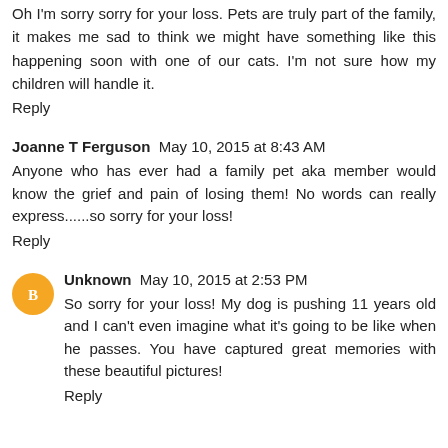Oh I'm sorry sorry for your loss. Pets are truly part of the family, it makes me sad to think we might have something like this happening soon with one of our cats. I'm not sure how my children will handle it.
Reply
Joanne T Ferguson  May 10, 2015 at 8:43 AM
Anyone who has ever had a family pet aka member would know the grief and pain of losing them! No words can really express......so sorry for your loss!
Reply
Unknown  May 10, 2015 at 2:53 PM
So sorry for your loss! My dog is pushing 11 years old and I can't even imagine what it's going to be like when he passes. You have captured great memories with these beautiful pictures!
Reply